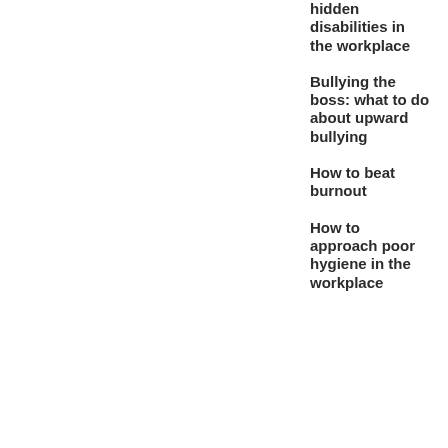hidden disabilities in the workplace
Bullying the boss: what to do about upward bullying
How to beat burnout
How to approach poor hygiene in the workplace